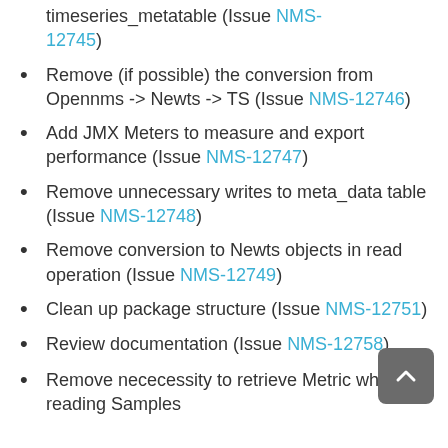timeseries_metatable (Issue NMS-12745)
Remove (if possible) the conversion from Opennms -> Newts -> TS (Issue NMS-12746)
Add JMX Meters to measure and export performance (Issue NMS-12747)
Remove unnecessary writes to meta_data table (Issue NMS-12748)
Remove conversion to Newts objects in read operation (Issue NMS-12749)
Clean up package structure (Issue NMS-12751)
Review documentation (Issue NMS-12758)
Remove nececessity to retrieve Metric when reading Samples